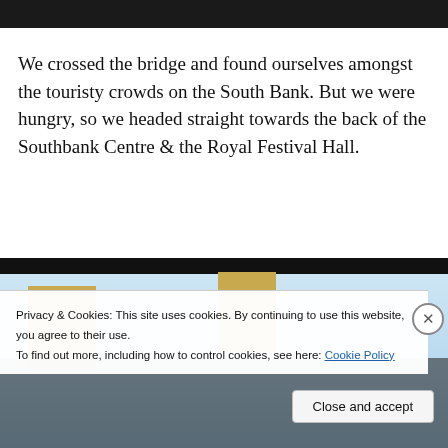[Figure (photo): Top portion of a photograph, dark scene, partially visible at top of page]
We crossed the bridge and found ourselves amongst the touristy crowds on the South Bank. But we were hungry, so we headed straight towards the back of the Southbank Centre & the Royal Festival Hall.
[Figure (photo): Exterior photograph of the Southbank Centre / Royal Festival Hall buildings against a light blue sky]
Privacy & Cookies: This site uses cookies. By continuing to use this website, you agree to their use.
To find out more, including how to control cookies, see here: Cookie Policy
Close and accept